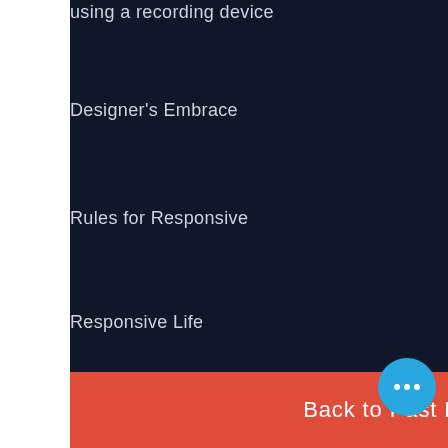using a recording device
Designer's Embrace
Rules for Responsive
Responsive Life
The Inspiration
Back to Past Events